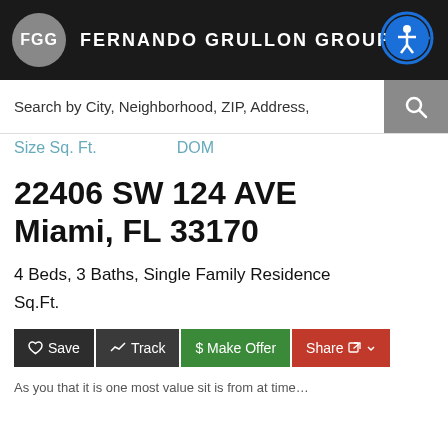FERNANDO GRULLON GROUP
Search by City, Neighborhood, ZIP, Address,
Size Sq. Ft.   DOM
22406 SW 124 AVE Miami, FL 33170
4 Beds, 3 Baths, Single Family Residence
Sq.Ft.
Save   Track   $ Make Offer   Share
As you that it is one most value sit is from at time…